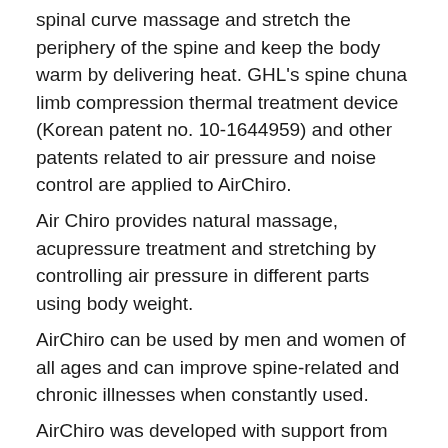spinal curve massage and stretch the periphery of the spine and keep the body warm by delivering heat. GHL's spine chuna limb compression thermal treatment device (Korean patent no. 10-1644959) and other patents related to air pressure and noise control are applied to AirChiro.
Air Chiro provides natural massage, acupressure treatment and stretching by controlling air pressure in different parts using body weight.
AirChiro can be used by men and women of all ages and can improve spine-related and chronic illnesses when constantly used.
AirChiro was developed with support from the Gyeonggi-do provincial government in 2017, and GHL's patented technologies and manufacturing expertise have been applied to AirChiro.